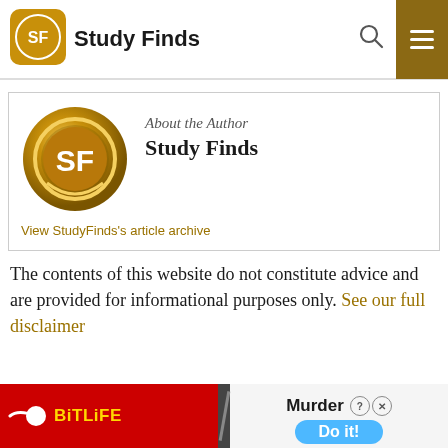Study Finds
[Figure (logo): Study Finds author box with gold SF logo, text 'About the Author' and 'Study Finds', and link 'View StudyFinds's article archive']
The contents of this website do not constitute advice and are provided for informational purposes only. See our full disclaimer
[Figure (screenshot): BitLife advertisement banner with red background, sperm icon, yellow 'BitLiFE' text on left, and 'Murder Do it!' on right with blue button]